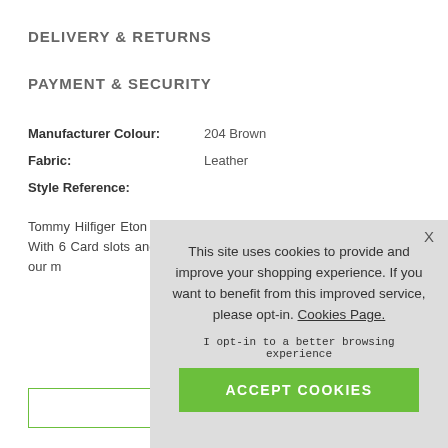DELIVERY & RETURNS
PAYMENT & SECURITY
| Property | Value |
| --- | --- |
| Manufacturer Colour: | 204 Brown |
| Fabric: | Leather |
| Style Reference: |  |
Tommy Hilfiger Eton Fabricated from the hi leather with embossed With 6 Card slots and a gift box. Dimensions: 1 from top brands in our m
[Figure (screenshot): Cookie consent overlay with text: 'This site uses cookies to provide and improve your shopping experience. If you want to benefit from this improved service, please opt-in. Cookies Page.' with 'I opt-in to a better browsing experience' and 'ACCEPT COOKIES' button.]